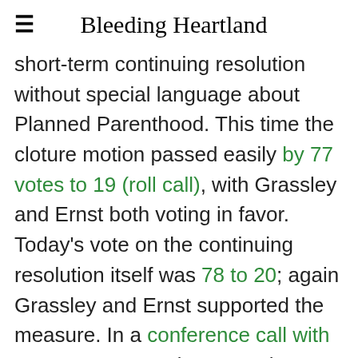Bleeding Heartland
short-term continuing resolution without special language about Planned Parenthood. This time the cloture motion passed easily by 77 votes to 19 (roll call), with Grassley and Ernst both voting in favor. Today's vote on the continuing resolution itself was 78 to 20; again Grassley and Ernst supported the measure. In a conference call with Iowa reporters today, Grassley indicated that a partial government shutdown, as occurred in October 2013, would be costly: "We